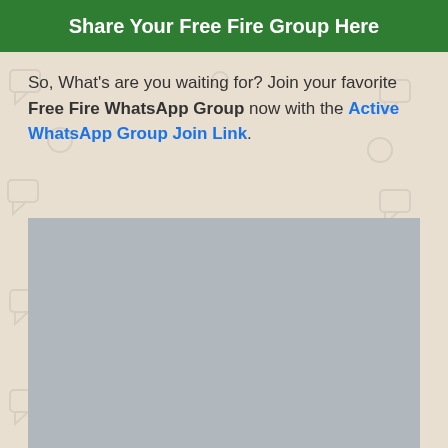Share Your Free Fire Group Here
So, What's are you waiting for? Join your favorite Free Fire WhatsApp Group now with the Active WhatsApp Group Join Link.
[Figure (other): Gray placeholder rectangle representing an advertisement or image block]